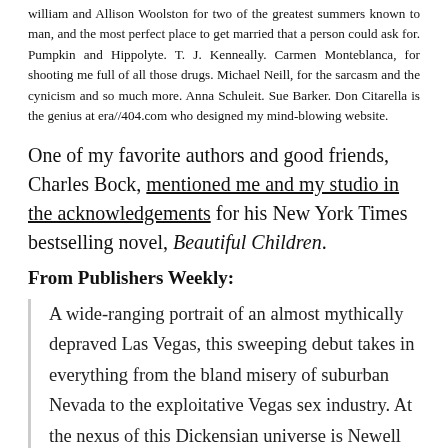william and Allison Woolston for two of the greatest summers known to man, and the most perfect place to get married that a person could ask for. Pumpkin and Hippolyte. T. J. Kenneally. Carmen Monteblanca, for shooting me full of all those drugs. Michael Neill, for the sarcasm and the cynicism and so much more. Anna Schuleit. Sue Barker. Don Citarella is the genius at era//404.com who designed my mind-blowing website.
One of my favorite authors and good friends, Charles Bock, mentioned me and my studio in the acknowledgements for his New York Times bestselling novel, Beautiful Children.
From Publishers Weekly:
A wide-ranging portrait of an almost mythically depraved Las Vegas, this sweeping debut takes in everything from the bland misery of suburban Nevada to the exploitative Vegas sex industry. At the nexus of this Dickensian universe is Newell Ewing, a hyperactive 12-year-old boy with a comic-book